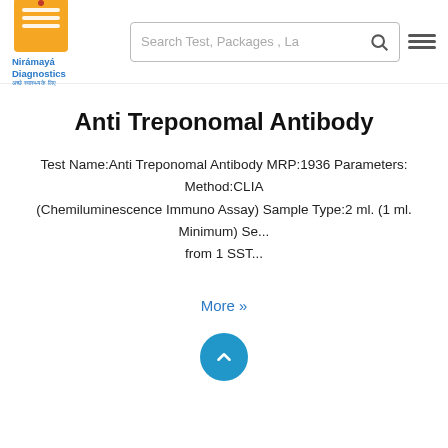Nirámayá Diagnostics — Search Test, Packages, La…
Anti Treponomal Antibody
Test Name:Anti Treponomal Antibody MRP:1936 Parameters: Method:CLIA (Chemiluminescence Immuno Assay) Sample Type:2 ml. (1 ml. Minimum) Se... from 1 SST...
More »